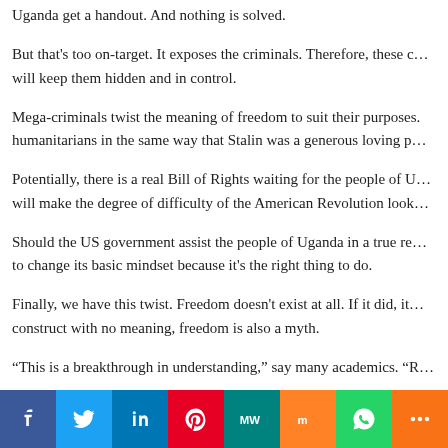Uganda get a handout. And nothing is solved.
But that's too on-target. It exposes the criminals. Therefore, these criminals will keep them hidden and in control.
Mega-criminals twist the meaning of freedom to suit their purposes. They are humanitarians in the same way that Stalin was a generous loving pa...
Potentially, there is a real Bill of Rights waiting for the people of U... will make the degree of difficulty of the American Revolution look...
Should the US government assist the people of Uganda in a true re... to change its basic mindset because it's the right thing to do.
Finally, we have this twist. Freedom doesn't exist at all. If it did, it... construct with no meaning, freedom is also a myth.
“This is a breakthrough in understanding,” say many academics. “R...